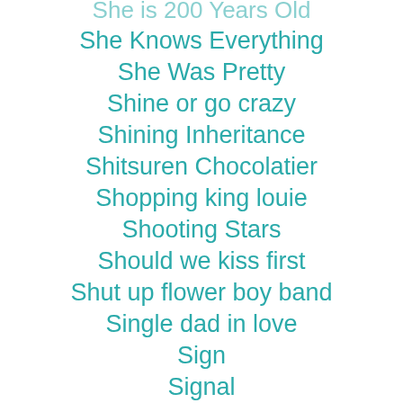She is 200 Years Old
She Knows Everything
She Was Pretty
Shine or go crazy
Shining Inheritance
Shitsuren Chocolatier
Shopping king louie
Shooting Stars
Should we kiss first
Shut up flower boy band
Single dad in love
Sign
Signal
Sirius
Sisters in love
Six Flying Dragons